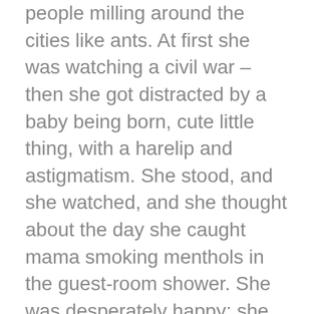people milling around the cities like ants. At first she was watching a civil war – then she got distracted by a baby being born, cute little thing, with a harelip and astigmatism. She stood, and she watched, and she thought about the day she caught mama smoking menthols in the guest-room shower. She was desperately happy; she was indescribably sad.
The waiting room wasn't a room – it was the soccer field by our elementary school, the one with the faded lines and the old bleachers that screamed when you sat on